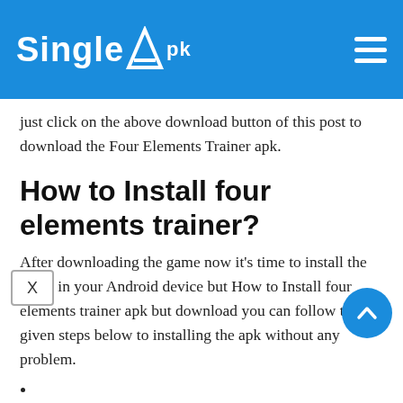SingleApk
just click on the above download button of this post to download the Four Elements Trainer apk.
How to Install four elements trainer?
After downloading the game now it's time to install the game in your Android device but How to Install four elements trainer apk but download you can follow the given steps below to installing the apk without any problem.
Can I Download Four Elements